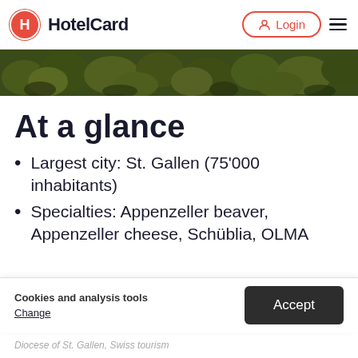HotelCard — Login
[Figure (photo): Aerial view of dense green tree canopy, dark forest photographed from above]
At a glance
Largest city: St. Gallen (75'000 inhabitants)
Specialties: Appenzeller beaver, Appenzeller cheese, Schüblia, OLMA
Cookies and analysis tools
Change
Accept